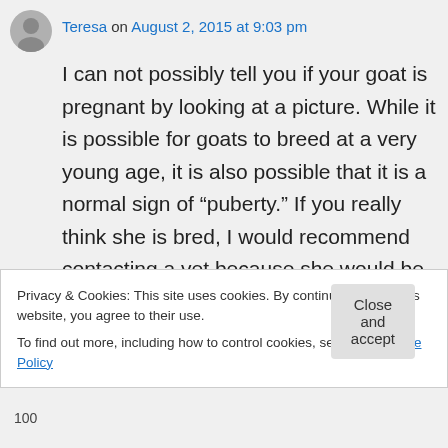Teresa on August 2, 2015 at 9:03 pm
I can not possibly tell you if your goat is pregnant by looking at a picture. While it is possible for goats to breed at a very young age, it is also possible that it is a normal sign of “puberty.” If you really think she is bred, I would recommend contacting a vet because she would be very likely to have difficulties giving birth.
↳ Reply
Privacy & Cookies: This site uses cookies. By continuing to use this website, you agree to their use.
To find out more, including how to control cookies, see here: Cookie Policy
Close and accept
100